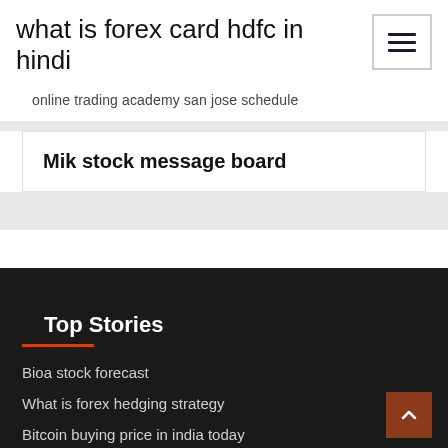what is forex card hdfc in hindi
online trading academy san jose schedule
Mik stock message board
Top Stories
Bioa stock forecast
What is forex hedging strategy
Bitcoin buying price in india today